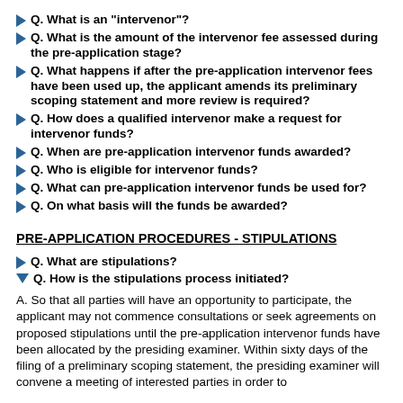Q. What is an "intervenor"?
Q. What is the amount of the intervenor fee assessed during the pre-application stage?
Q. What happens if after the pre-application intervenor fees have been used up, the applicant amends its preliminary scoping statement and more review is required?
Q. How does a qualified intervenor make a request for intervenor funds?
Q. When are pre-application intervenor funds awarded?
Q. Who is eligible for intervenor funds?
Q. What can pre-application intervenor funds be used for?
Q. On what basis will the funds be awarded?
PRE-APPLICATION PROCEDURES - STIPULATIONS
Q. What are stipulations?
Q. How is the stipulations process initiated?
A. So that all parties will have an opportunity to participate, the applicant may not commence consultations or seek agreements on proposed stipulations until the pre-application intervenor funds have been allocated by the presiding examiner. Within sixty days of the filing of a preliminary scoping statement, the presiding examiner will convene a meeting of interested parties in order to